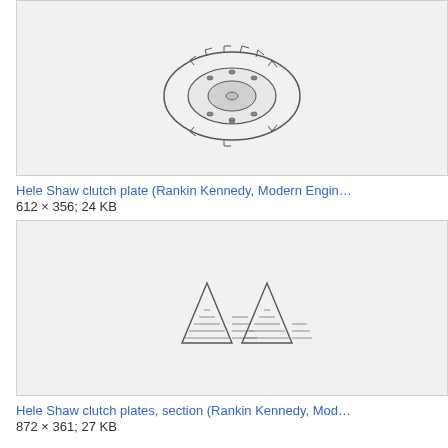[Figure (engineering-diagram): Technical illustration of a Hele Shaw clutch plate shown from above, a circular ring-shaped component with gear-like teeth around the outer edge and bolts/studs on the inner ring, rendered in black and white line art.]
Hele Shaw clutch plate (Rankin Kennedy, Modern Engin…
612 × 356; 24 KB
[Figure (engineering-diagram): Technical cross-section illustration of Hele Shaw clutch plates showing two triangular/pointed spring-like elements side by side with horizontal lines indicating layered plate sections, rendered in black and white line art.]
Hele Shaw clutch plates, section (Rankin Kennedy, Mod…
872 × 361; 27 KB